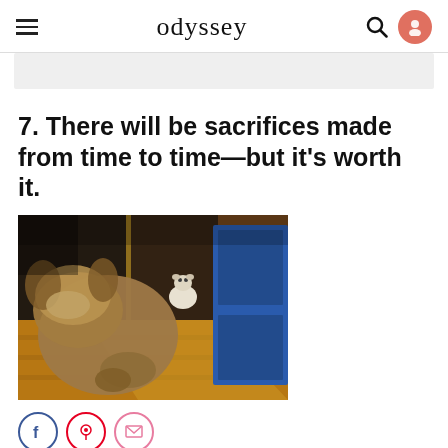odyssey
7. There will be sacrifices made from time to time—but it's worth it.
[Figure (photo): A blurry GIF-style photo of two dogs on a wooden floor indoors; one dog is in the foreground close to the camera and blurry, a smaller white dog sits in the background near a blue cabinet.]
Giphy